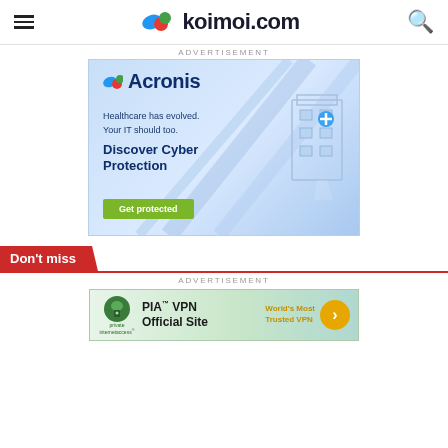koimoi.com
ADVERTISEMENT
[Figure (illustration): Acronis advertisement banner: 'Acronis' logo, tagline 'Healthcare has evolved. Your IT should too. Discover Cyber Protection', green 'Get protected' button, isometric building illustration on right side.]
Don't miss
ADVERTISEMENT
[Figure (illustration): PIA VPN advertisement banner with Private Internet Access logo, 'PIA™ VPN Official Site' text, 'World's Most Trusted VPN' in gold text, and orange arrow button.]